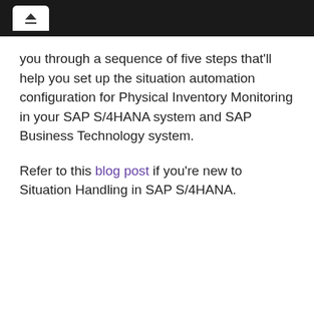you through a sequence of five steps that'll help you set up the situation automation configuration for Physical Inventory Monitoring in your SAP S/4HANA system and SAP Business Technology system.
Refer to this blog post if you're new to Situation Handling in SAP S/4HANA.